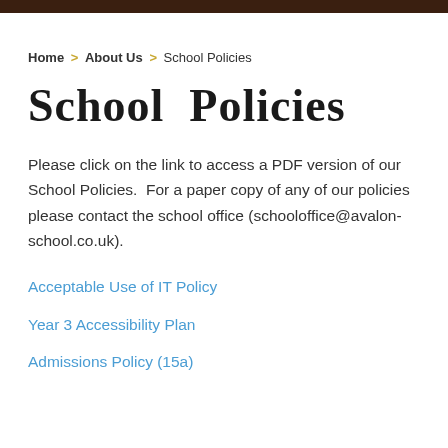Home > About Us > School Policies
School Policies
Please click on the link to access a PDF version of our School Policies.  For a paper copy of any of our policies please contact the school office (schooloffice@avalon-school.co.uk).
Acceptable Use of IT Policy
Year 3 Accessibility Plan
Admissions Policy (15a)